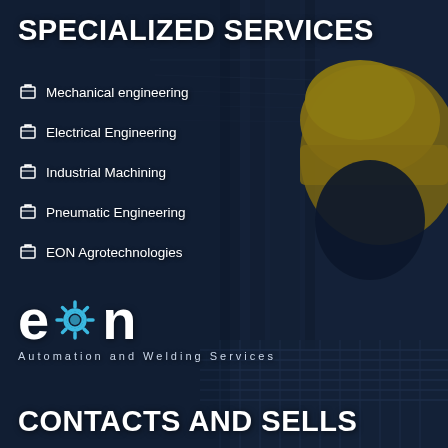[Figure (illustration): Dark industrial background with an engineer wearing a yellow hard hat, electrical cabinets with cables, and a conveyor/grating surface. EON company promotional page.]
SPECIALIZED SERVICES
Mechanical engineering
Electrical Engineering
Industrial Machining
Pneumatic Engineering
EON Agrotechnologies
[Figure (logo): EON logo — letters E, gear icon, N in white on dark background. Subtitle: Automation and Welding Services]
CONTACTS AND SELLS